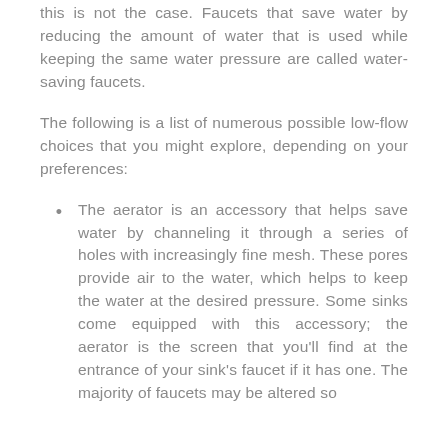this is not the case. Faucets that save water by reducing the amount of water that is used while keeping the same water pressure are called water-saving faucets.
The following is a list of numerous possible low-flow choices that you might explore, depending on your preferences:
The aerator is an accessory that helps save water by channeling it through a series of holes with increasingly fine mesh. These pores provide air to the water, which helps to keep the water at the desired pressure. Some sinks come equipped with this accessory; the aerator is the screen that you'll find at the entrance of your sink's faucet if it has one. The majority of faucets may be altered so